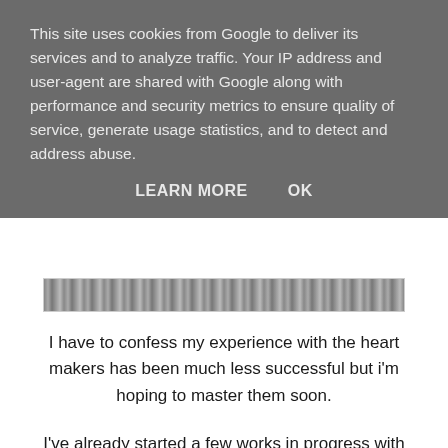This site uses cookies from Google to deliver its services and to analyze traffic. Your IP address and user-agent are shared with Google along with performance and security metrics to ensure quality of service, generate usage statistics, and to detect and address abuse.
LEARN MORE   OK
[Figure (other): A blurred/pixelated horizontal image strip showing indistinct content]
I have to confess my experience with the heart makers has been much less successful but i'm hoping to master them soon.
I've already started a few works in progress with these, but I would love to hear your suggestions too. I'm also thinking of making a tutorial for these so if you're interested let me know in the comments below.
Thanks for stopping by!
xxx